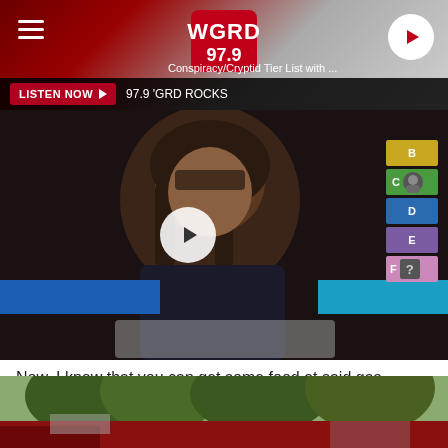WGRD 97.9
Conspiracy/Cryptid Tier List with ...
LISTEN NOW ▶  97.9 'GRD ROCKS
[Figure (screenshot): Video thumbnail showing a man with long hair, a tier list chart on the right with colored rows (yellow, green, blue, purple, pink), and a play button overlay]
Now, I know that you can get some food at said gas station, but I don't know that it's the menu listed on GrubHub - it's more along the lines of the 99-cent fountain drinks that are advertised in this sign pictured on Google Street View.
[Figure (photo): Google Street View photo of a gas station exterior with trees in the background]